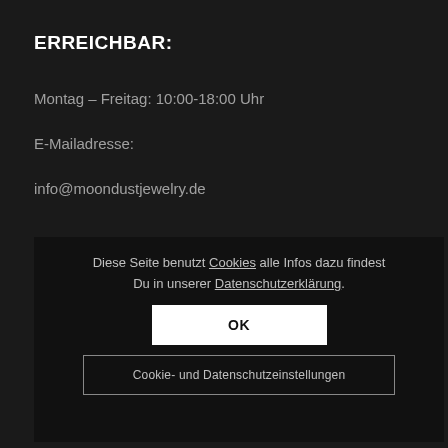ERREICHBAR:
Montag – Freitag: 10:00-18:00 Uhr
E-Mailadresse:
info@moondustjewelry.de
NAVIGATION
Return
FAQ
News
Login/ My Account
Diese Seite benutzt Cookies alle Infos dazu findest Du in unserer Datenschutzerklärung.
OK
Cookie- und Datenschutzeinstellungen